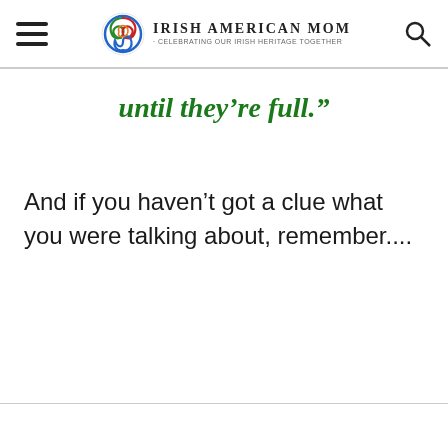Irish American Mom - Celebrating Our Irish Heritage Together
until they’re full.”
And if you haven’t got a clue what you were talking about, remember....